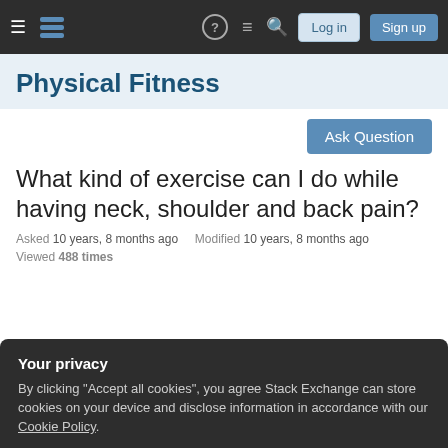Physical Fitness — Stack Exchange navigation bar with Log in and Sign up buttons
Physical Fitness
Ask Question
What kind of exercise can I do while having neck, shoulder and back pain?
Asked 10 years, 8 months ago    Modified 10 years, 8 months ago
Viewed 488 times
Your privacy
By clicking "Accept all cookies", you agree Stack Exchange can store cookies on your device and disclose information in accordance with our Cookie Policy.
Accept all cookies    Customize settings
clothing. I went to an osteopath, but it made things